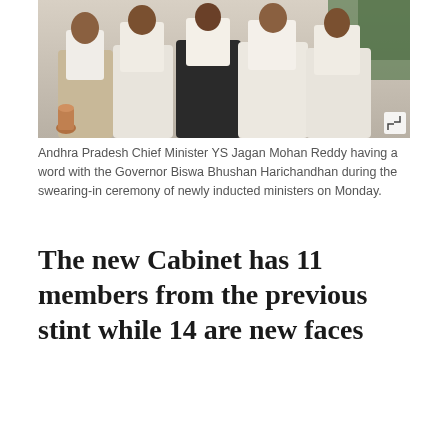[Figure (photo): Andhra Pradesh Chief Minister YS Jagan Mohan Reddy having a conversation with Governor Biswa Bhushan Harichandhan at the swearing-in ceremony of newly inducted ministers. Several people in white traditional Indian attire are seated together.]
Andhra Pradesh Chief Minister YS Jagan Mohan Reddy having a word with the Governor Biswa Bhushan Harichandhan during the swearing-in ceremony of newly inducted ministers on Monday.
The new Cabinet has 11 members from the previous stint while 14 are new faces